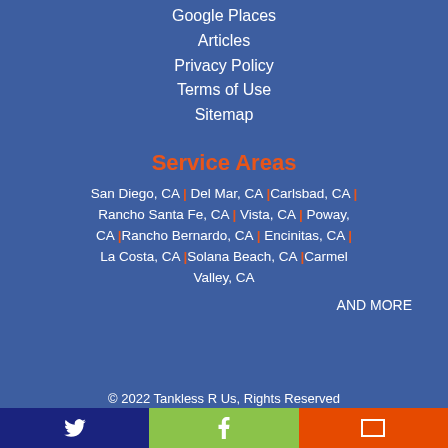Google Places
Articles
Privacy Policy
Terms of Use
Sitemap
Service Areas
San Diego, CA | Del Mar, CA | Carlsbad, CA | Rancho Santa Fe, CA | Vista, CA | Poway, CA | Rancho Bernardo, CA | Encinitas, CA | La Costa, CA | Solana Beach, CA | Carmel Valley, CA
AND MORE
© 2022 Tankless R Us, Rights Reserved